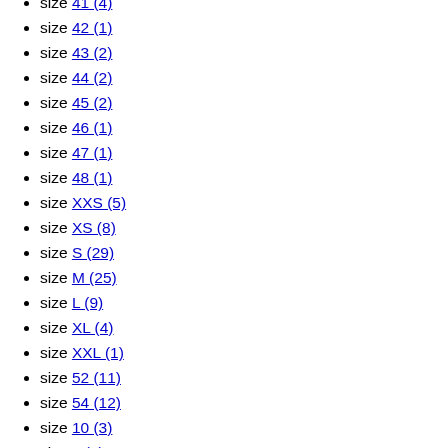size 41 (4)
size 42 (1)
size 43 (2)
size 44 (2)
size 45 (2)
size 46 (1)
size 47 (1)
size 48 (1)
size XXS (5)
size XS (8)
size S (29)
size M (25)
size L (9)
size XL (4)
size XXL (1)
size 52 (11)
size 54 (12)
size 10 (3)
size 5 (5)
size 6 (3)
size 8 (3)
size 58 (1)
size 60 (8)
size 62 (6)
size U (142)